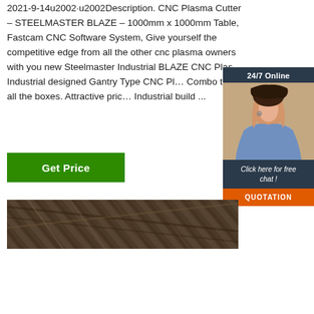2021-9-14u2002·u2002Description. CNC Plasma Cutter – STEELMASTER BLAZE – 1000mm x 1000mm Table, Fastcam CNC Software System, Give yourself the competitive edge from all the other cnc plasma owners with you new Steelmaster Industrial BLAZE CNC Plas… Industrial designed Gantry Type CNC Pl… Combo ticks all the boxes. Attractive pric… Industrial build ...
[Figure (other): 24/7 Online chat widget with a woman wearing a headset, dark navy background header reading '24/7 Online', text 'Click here for free chat!' and an orange QUOTATION button]
[Figure (photo): Photo of industrial steel/metal ceiling or structure with diagonal beams and rust/industrial coloring]